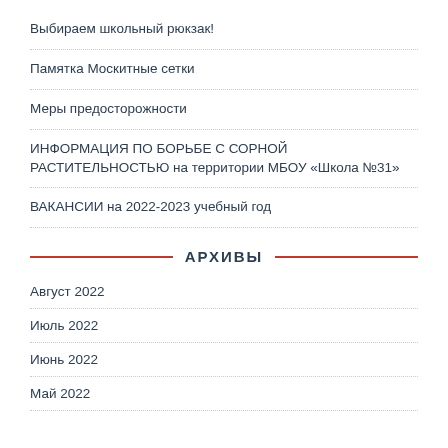Выбираем школьный рюкзак!
Памятка Москитные сетки
Меры предосторожности
ИНФОРМАЦИЯ ПО БОРЬБЕ С СОРНОЙ РАСТИТЕЛЬНОСТЬЮ на территории МБОУ «Школа №31»
ВАКАНСИИ на 2022-2023 учебный год
АРХИВЫ
Август 2022
Июль 2022
Июнь 2022
Май 2022